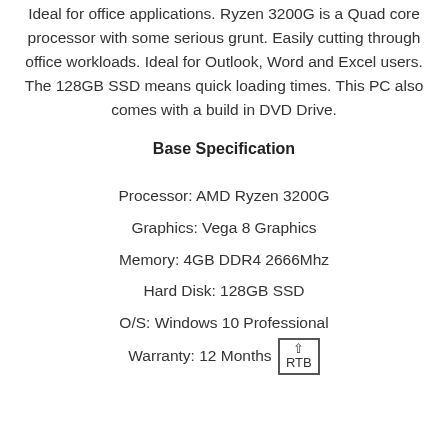Ideal for office applications. Ryzen 3200G is a Quad core processor with some serious grunt. Easily cutting through office workloads. Ideal for Outlook, Word and Excel users. The 128GB SSD means quick loading times. This PC also comes with a build in DVD Drive.
Base Specification
Processor: AMD Ryzen 3200G
Graphics: Vega 8 Graphics
Memory: 4GB DDR4 2666Mhz
Hard Disk: 128GB SSD
O/S: Windows 10 Professional
Warranty: 12 Months RTB